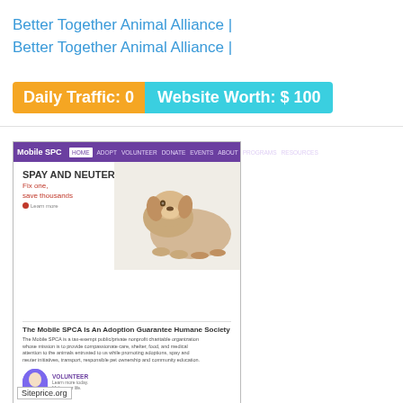Better Together Animal Alliance | Better Together Animal Alliance |
Daily Traffic: 0   Website Worth: $ 100
[Figure (screenshot): Screenshot of Mobile SPCA website showing navigation bar, Spay and Neuter section with dog photo, and volunteer section. Siteprice.org watermark visible.]
mobilespca.org
Home - Mobile SPCA